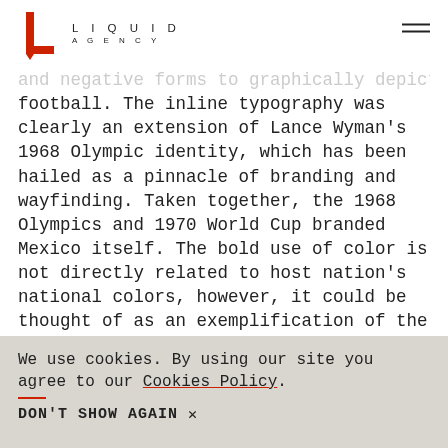LIQUID AGENCY
and negative forms to graphically depict football. The inline typography was clearly an extension of Lance Wyman's 1968 Olympic identity, which has been hailed as a pinnacle of branding and wayfinding. Taken together, the 1968 Olympics and 1970 World Cup branded Mexico itself. The bold use of color is not directly related to host nation's national colors, however, it could be thought of as an exemplification of the richness of color in the country itself. Brazil takes home
We use cookies. By using our site you agree to our Cookies Policy.
DON'T SHOW AGAIN  ×